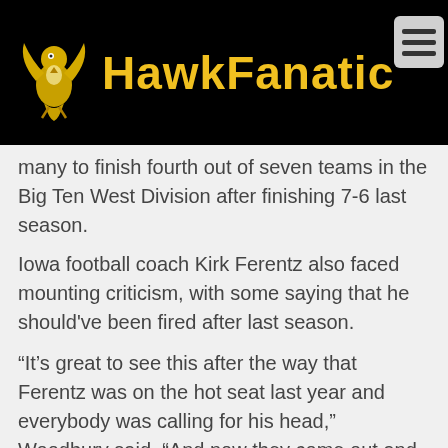HawkFanatic
many to finish fourth out of seven teams in the Big Ten West Division after finishing 7-6 last season.
Iowa football coach Kirk Ferentz also faced mounting criticism, with some saying that he should've been fired after last season.
“It’s great to see this after the way that Ferentz was on the hot seat last year and everybody was calling for his head,” Woodbury said. “And now they come out and go 12-0. So it’s always cool to see. I have some guys on the team I’m friends with.”
Iowa forward Jarrod Uthoff said Monday that he isn't surprised by the football team's historical resurgence, which